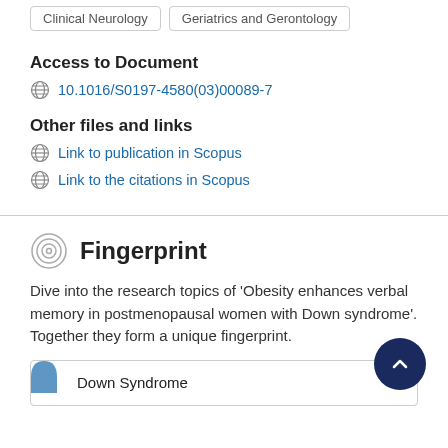Clinical Neurology | Geriatrics and Gerontology
Access to Document
10.1016/S0197-4580(03)00089-7
Other files and links
Link to publication in Scopus
Link to the citations in Scopus
Fingerprint
Dive into the research topics of 'Obesity enhances verbal memory in postmenopausal women with Down syndrome'. Together they form a unique fingerprint.
Down Syndrome